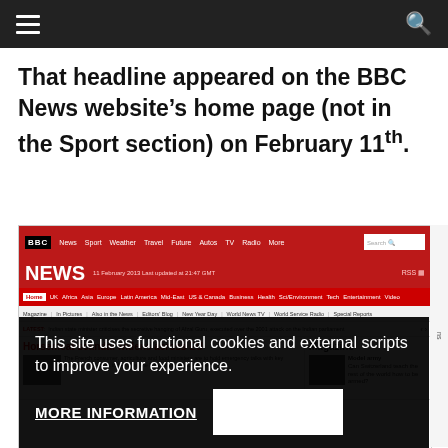Navigation bar with hamburger menu and search icon
That headline appeared on the BBC News website’s home page (not in the Sport section) on February 11th.
[Figure (screenshot): Screenshot of BBC News website homepage showing 'Horsemeat scandal widens across EU' headline, with cookie consent overlay reading 'This site uses functional cookies and external scripts to improve your experience. MORE INFORMATION']